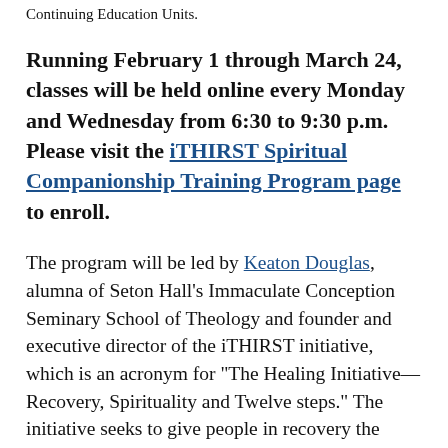Continuing Education Units.
Running February 1 through March 24, classes will be held online every Monday and Wednesday from 6:30 to 9:30 p.m. Please visit the iTHIRST Spiritual Companionship Training Program page to enroll.
The program will be led by Keaton Douglas, alumna of Seton Hall's Immaculate Conception Seminary School of Theology and founder and executive director of the iTHIRST initiative, which is an acronym for "The Healing Initiative—Recovery, Spirituality and Twelve steps." The initiative seeks to give people in recovery the spiritual tools they need to stay clean and lead the faith-based fight against substance-use disorders, especially opioid addiction. Douglas also serves as a consultant, educator, counselor and frequent guest speaker in the field of addiction and recovery,